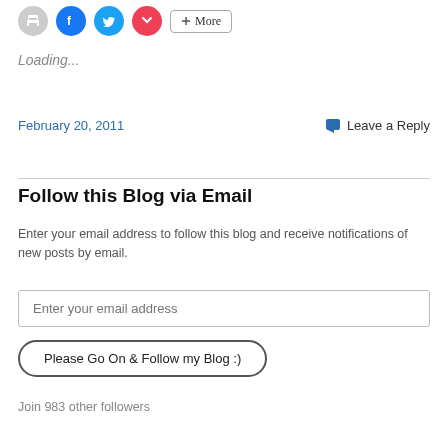Loading...
February 20, 2011
💬 Leave a Reply
Follow this Blog via Email
Enter your email address to follow this blog and receive notifications of new posts by email.
Enter your email address
Please Go On & Follow my Blog :)
Join 983 other followers